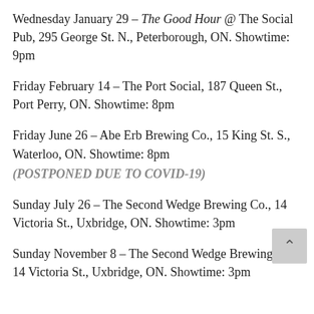Wednesday January 29 – The Good Hour @ The Social Pub, 295 George St. N., Peterborough, ON. Showtime: 9pm
Friday February 14 – The Port Social, 187 Queen St., Port Perry, ON. Showtime: 8pm
Friday June 26 – Abe Erb Brewing Co., 15 King St. S., Waterloo, ON. Showtime: 8pm (POSTPONED DUE TO COVID-19)
Sunday July 26 – The Second Wedge Brewing Co., 14 Victoria St., Uxbridge, ON. Showtime: 3pm
Sunday November 8 – The Second Wedge Brewing Co., 14 Victoria St., Uxbridge, ON. Showtime: 3pm